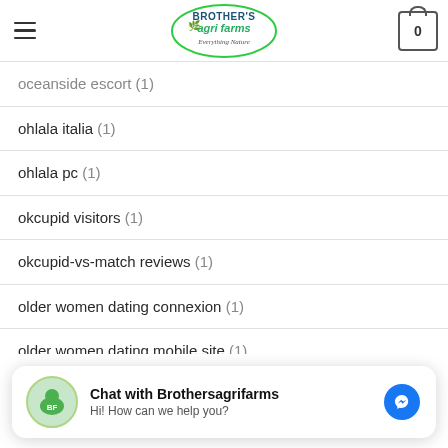Brother's Agri Farms — Everything Nature
oceanside escort (1)
ohlala italia (1)
ohlala pc (1)
okcupid visitors (1)
okcupid-vs-match reviews (1)
older women dating connexion (1)
older women dating mobile site (1)
omaha escort list (1)
Chat with Brothersagrifarms
Hi! How can we help you?